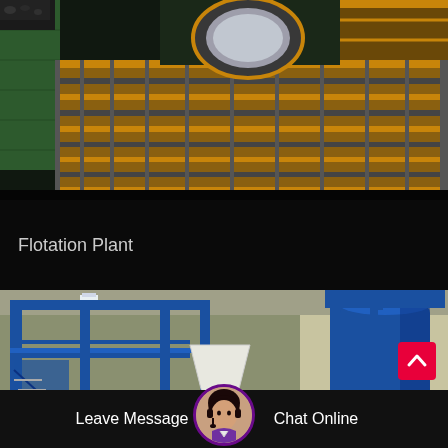[Figure (photo): Industrial flotation plant interior showing metal grating walkway with yellow/orange painted grid sections over dark machinery, green painted concrete walls, and overhead lighting in a industrial facility]
Flotation Plant
[Figure (photo): Industrial plant interior with blue steel structural framework, stairs, a white hopper/funnel, a large blue cylindrical silo/tank, and industrial machinery on the floor of a warehouse-type building]
Leave Message   Chat Online